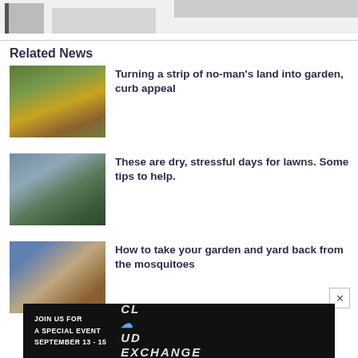[Figure (photo): Top partial images bar showing cropped article thumbnails]
Related News
[Figure (photo): Garden with colorful flowers and plants along a walkway]
Turning a strip of no-man's land into garden, curb appeal
[Figure (photo): Lawn sprinkler watering grass]
These are dry, stressful days for lawns. Some tips to help.
[Figure (photo): Close-up of a mosquito]
How to take your garden and yard back from the mosquitoes
[Figure (infographic): Advertisement: Join us for a special event September 13-15, Cloud Exchange]